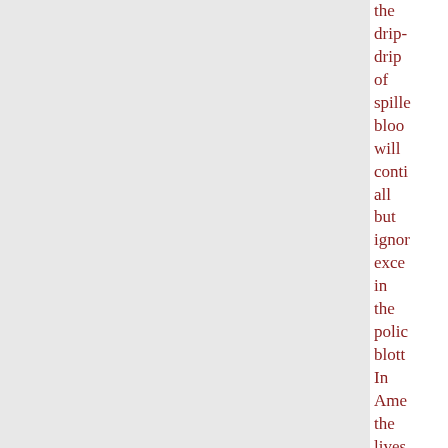the drip-drip of spilled blood will conti all but ignor excep in the polic blotte In Ame the lives of youn black peop